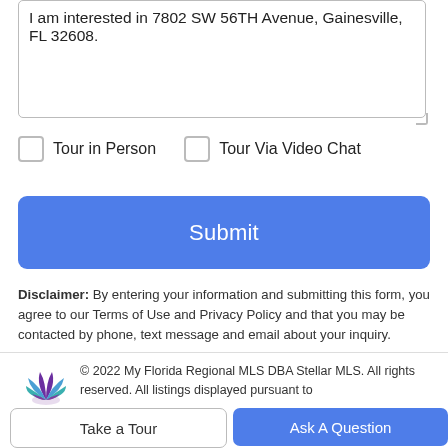I am interested in 7802 SW 56TH Avenue, Gainesville, FL 32608.
Tour in Person
Tour Via Video Chat
Submit
Disclaimer: By entering your information and submitting this form, you agree to our Terms of Use and Privacy Policy and that you may be contacted by phone, text message and email about your inquiry.
© 2022 My Florida Regional MLS DBA Stellar MLS. All rights reserved. All listings displayed pursuant to
Take a Tour
Ask A Question